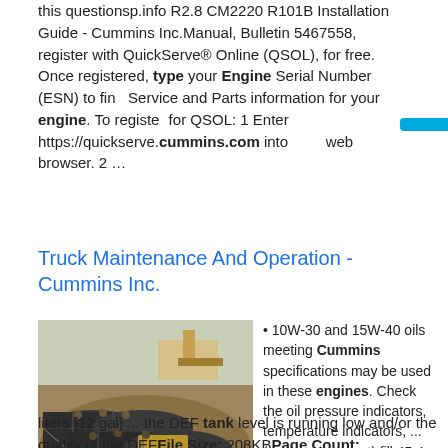this questionsp.info R2.8 CM2220 R101B Installation Guide - Cummins Inc.Manual, Bulletin 5467558, register with QuickServe® Online (QSOL), for free. Once registered, type your Engine Serial Number (ESN) to find Service and Parts information for your engine. To register for QSOL: 1 Enter https://quickserve.cummins.com into your web browser. 2 …
Truck Maintenance And Operation - Cummins Inc.
[Figure (photo): Three large cylindrical black tanks/barrels partially buried in a dirt excavation site with construction equipment visible in the background.]
• 10W-30 and 15W-40 oils meeting Cummins specifications may be used in these engines. Check the oil pressure indicators, temperature indicators, ... (wedge type cast) fill 45.4 liters [12 gal] ... the DEF tank level is running low and/or the quality of the DEFFile Size: 208KBPage Count: